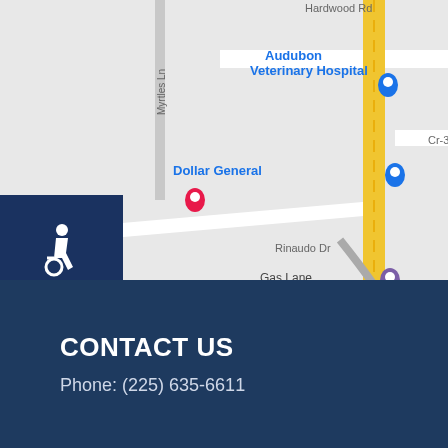[Figure (map): Google Maps screenshot showing an area with Audubon Veterinary Hospital, Dollar General, Myrtles Plantation, NAPA Auto Parts - Prime Source Auto Parts, Gas Lane, Plantation Feed & Supply, and road labels including Cr-349, Cr-350, Myrtles Ln, A St, Rinaudo Dr, Hardwood Rd. A yellow highway runs diagonally. An accessibility icon box is in the lower-left corner. Fire Protection and West Felicia Work Release labels are partially visible on the right.]
CONTACT US
Phone: (225) 635-6611